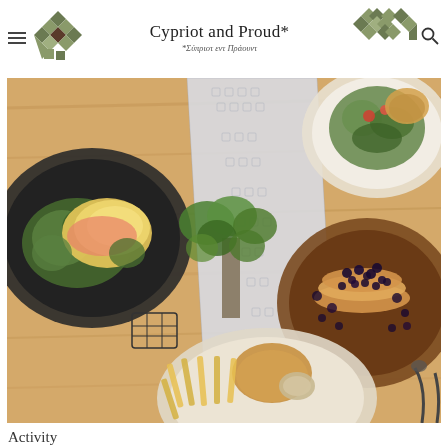[Figure (logo): Left geometric mosaic logo made of olive green, dark green, and terracotta triangles and squares]
Cypriot and Proud*
*Σύπριοτ εντ Πράουντ
[Figure (logo): Right geometric mosaic logo made of olive green and dark green triangles and squares]
[Figure (photo): Overhead/top-down view of a wooden table with multiple dishes: eggs Benedict with hollandaise on a dark plate, a salad on white plate, pancakes with blueberries on a brown plate, a burger with fries on a white plate, fresh herbs in a glass, and a decorative blue-patterned table runner]
Activity